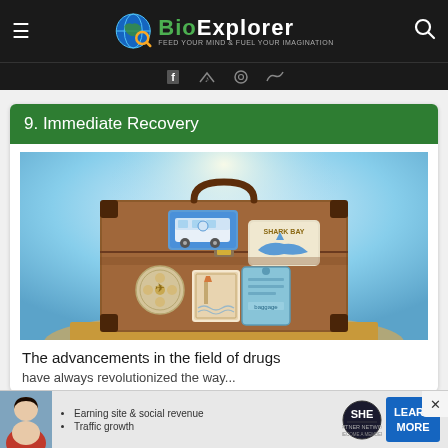BioExplorer — FEED YOUR MIND & FUEL YOUR IMAGINATION
9. Immediate Recovery
[Figure (photo): A vintage brown leather suitcase decorated with travel stickers including a VW bus sticker, a Shark Bay sticker, and a luggage tag, set against a sunny blue sky background.]
The advancements in the field of drugs
...
[Figure (other): Advertisement banner for SHE Media Partner Network featuring bullet points: Earning site & social revenue, Traffic growth. Includes LEARN MORE button.]